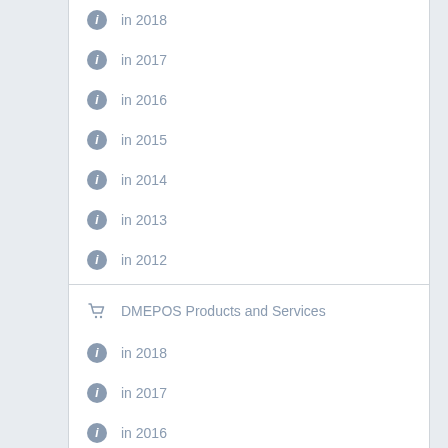in 2018
in 2017
in 2016
in 2015
in 2014
in 2013
in 2012
DMEPOS Products and Services
in 2018
in 2017
in 2016